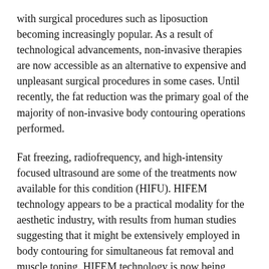with surgical procedures such as liposuction becoming increasingly popular. As a result of technological advancements, non-invasive therapies are now accessible as an alternative to expensive and unpleasant surgical procedures in some cases. Until recently, the fat reduction was the primary goal of the majority of non-invasive body contouring operations performed.
Fat freezing, radiofrequency, and high-intensity focused ultrasound are some of the treatments now available for this condition (HIFU). HIFEM technology appears to be a practical modality for the aesthetic industry, with results from human studies suggesting that it might be extensively employed in body contouring for simultaneous fat removal and muscle toning. HIFEM technology is now being tested in humans. Clinical trials are now being conducted to see whether this technology may be used to increase the